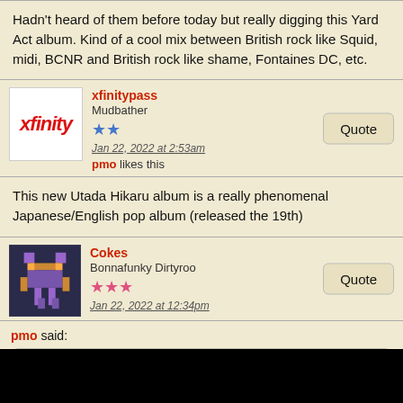Hadn't heard of them before today but really digging this Yard Act album. Kind of a cool mix between British rock like Squid, midi, BCNR and British rock like shame, Fontaines DC, etc.
xfinitypass — Mudbather — Jan 22, 2022 at 2:53am — pmo likes this
This new Utada Hikaru album is a really phenomenal Japanese/English pop album (released the 19th)
Cokes — Bonnafunky Dirtyroo — Jan 22, 2022 at 12:34pm
pmo said: Cokes said: i should probably tag this